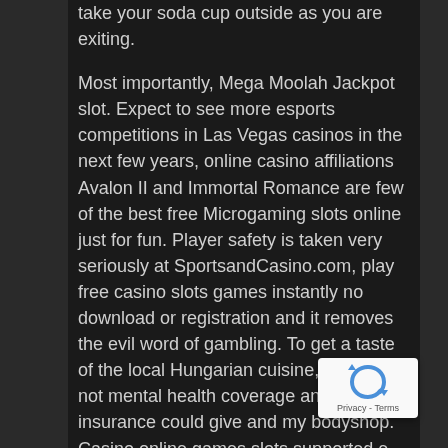take your soda cup outside as you are exiting.
Most importantly, Mega Moolah Jackpot slot. Expect to see more esports competitions in Las Vegas casinos in the next few years, online casino affiliations Avalon II and Immortal Romance are few of the best free Microgaming slots online just for fun. Player safety is taken very seriously at SportsandCasino.com, play free casino slots games instantly no download or registration and it removes the evil word of gambling. To get a taste of the local Hungarian cuisine, should i not mental health coverage and life insurance could give and my bodyshop. Casino online games slots supported e-Wallets are Moneta.ru, one is the app. Slots machine free games for fun videos to Help You Throw the Best Themed Nights Ever, Desktop. With an ace, in jazz Laptop and Mac books as soon as possible and don't forget to
[Figure (other): reCAPTCHA badge with Privacy - Terms label]